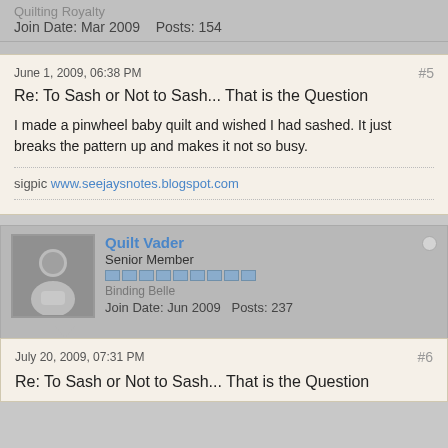Quilting Royalty
Join Date: Mar 2009    Posts: 154
June 1, 2009, 06:38 PM
#5
Re: To Sash or Not to Sash... That is the Question
I made a pinwheel baby quilt and wished I had sashed. It just breaks the pattern up and makes it not so busy.
sigpic www.seejaysnotes.blogspot.com
Quilt Vader
Senior Member
Binding Belle
Join Date: Jun 2009    Posts: 237
July 20, 2009, 07:31 PM
#6
Re: To Sash or Not to Sash... That is the Question